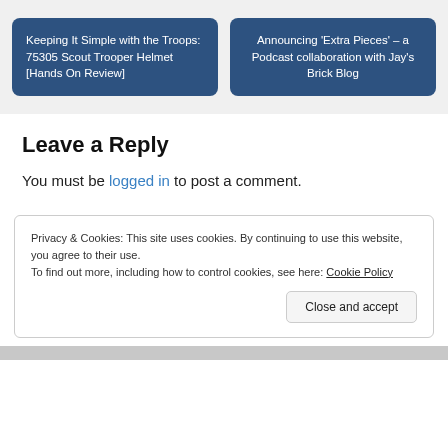Keeping It Simple with the Troops: 75305 Scout Trooper Helmet [Hands On Review]
Announcing 'Extra Pieces' – a Podcast collaboration with Jay's Brick Blog
Leave a Reply
You must be logged in to post a comment.
Privacy & Cookies: This site uses cookies. By continuing to use this website, you agree to their use.
To find out more, including how to control cookies, see here: Cookie Policy
Close and accept